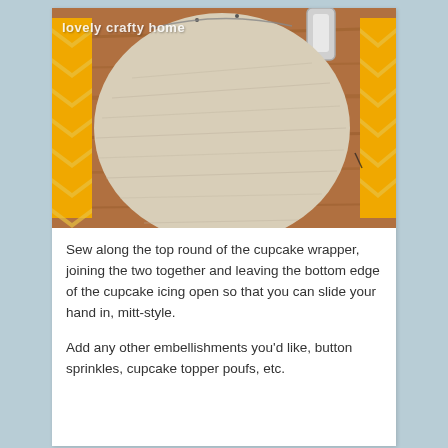[Figure (photo): A close-up photograph of the back of a fabric cupcake oven mitt/pot holder showing a beige linen circle sewn on top with yellow chevron fabric visible around the edges. A silver/metal loop is attached at the top for hanging. The watermark 'lovely crafty home' appears in the upper-left corner of the photo.]
Sew along the top round of the cupcake wrapper, joining the two together and leaving the bottom edge of the cupcake icing open so that you can slide your hand in, mitt-style.
Add any other embellishments you'd like, button sprinkles, cupcake topper poufs, etc.